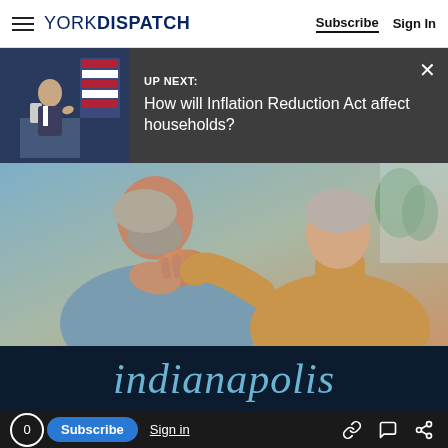YORK DISPATCH | Subscribe | Sign In
UP NEXT: How will Inflation Reduction Act affect households?
[Figure (photo): Elderly couple, man holding hands to face, woman in mustard turtleneck touching his shoulder]
indianapolis
0  Subscribe  Sign in